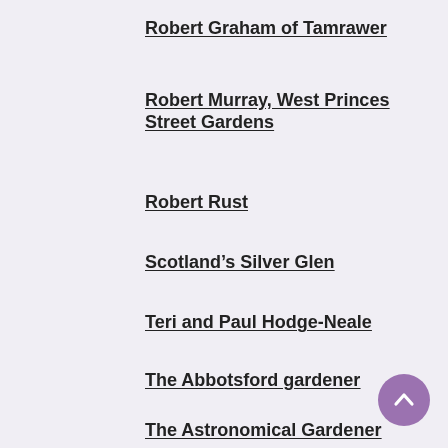Robert Graham of Tamrawer
Robert Murray, West Princes Street Gardens
Robert Rust
Scotland's Silver Glen
Teri and Paul Hodge-Neale
The Abbotsford gardener
The Astronomical Gardener
The auld gardener
The gardener of Finca Vigia